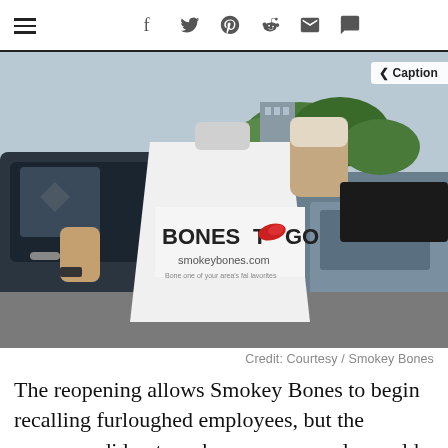hamburger menu + social icons (f, twitter, pinterest, reddit, mail, comment)
[Figure (photo): A person wearing gloves hands a 'Bones To Go / smokeybones.com' takeout bag through a car window. The bag is white with red and black text. A dark-colored SUV is visible on the left, another car in the background.]
Credit: Courtesy / Smokey Bones
The reopening allows Smokey Bones to begin recalling furloughed employees, but the company did not say how many people would go back to work.